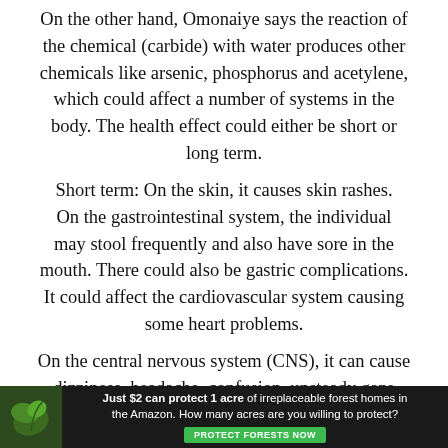On the other hand, Omonaiye says the reaction of the chemical (carbide) with water produces other chemicals like arsenic, phosphorus and acetylene, which could affect a number of systems in the body. The health effect could either be short or long term.
Short term: On the skin, it causes skin rashes. On the gastrointestinal system, the individual may stool frequently and also have sore in the mouth. There could also be gastric complications. It could affect the cardiovascular system causing some heart problems.
On the central nervous system (CNS), it can cause dizziness, headache, confusion, unsteady gaze and excessive sleeping.
For short term it...
[Figure (infographic): Advertisement banner: dark background with forest/leaf image on left. Text reads 'Just $2 can protect 1 acre of irreplaceable forest homes in the Amazon. How many acres are you willing to protect?' with a green 'PROTECT FORESTS NOW' button.]